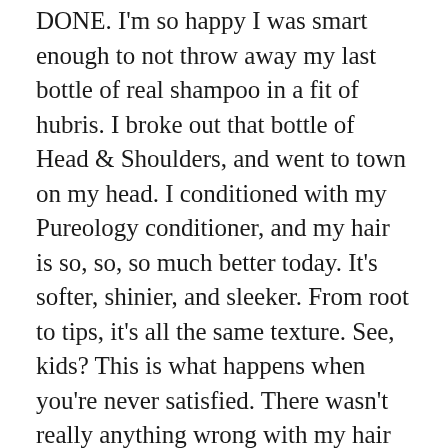DONE. I'm so happy I was smart enough to not throw away my last bottle of real shampoo in a fit of hubris. I broke out that bottle of Head & Shoulders, and went to town on my head. I conditioned with my Pureology conditioner, and my hair is so, so, so much better today. It's softer, shinier, and sleeker. From root to tips, it's all the same texture. See, kids? This is what happens when you're never satisfied. There wasn't really anything wrong with my hair to begin with, I was just bummed about using dandruff shampoo for the rest of my life, and I got caught up in the hope of a brighter, easier